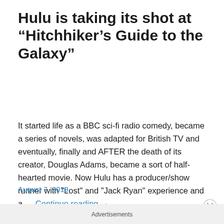Hulu is taking its shot at “Hitchhiker’s Guide to the Galaxy”
It started life as a BBC sci-fi radio comedy, became a series of novels, was adapted for British TV and eventually, finally and AFTER the death of its creator, Douglas Adams, became a sort of half-hearted movie. Now Hulu has a producer/show runner with "Lost" and "Jack Ryan" experience and a … Continue reading →
August 7, 2019
Advertisements